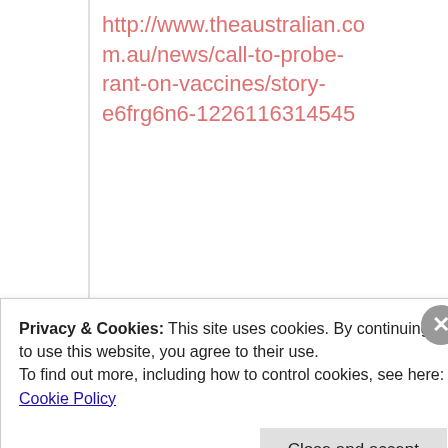http://www.theaustralian.com.au/news/call-to-probe-rant-on-vaccines/story-e6frg6n6-1226116314545
Reply
[Figure (illustration): Cartoon globe avatar icon with a smiley face, used as user profile image for Andy]
Andy
Privacy & Cookies: This site uses cookies. By continuing to use this website, you agree to their use.
To find out more, including how to control cookies, see here:
Cookie Policy
Close and accept